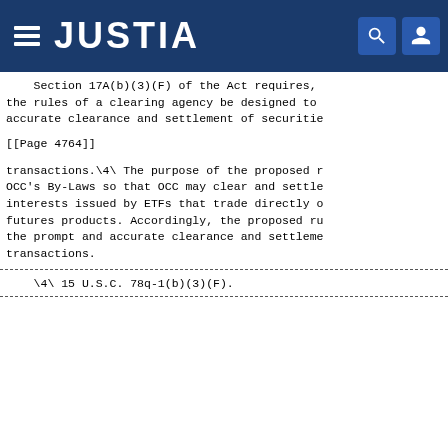JUSTIA
Section 17A(b)(3)(F) of the Act requires, the rules of a clearing agency be designed to accurate clearance and settlement of securitie
[[Page 4764]]
transactions.\4\ The purpose of the proposed r OCC's By-Laws so that OCC may clear and settle interests issued by ETFs that trade directly o futures products. Accordingly, the proposed ru the prompt and accurate clearance and settleme transactions.
\4\ 15 U.S.C. 78q-1(b)(3)(F).